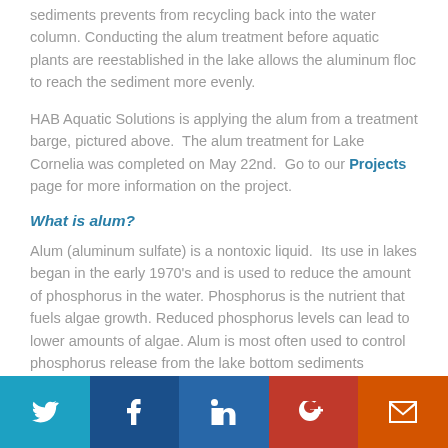sediments prevents from recycling back into the water column. Conducting the alum treatment before aquatic plants are reestablished in the lake allows the aluminum floc to reach the sediment more evenly.
HAB Aquatic Solutions is applying the alum from a treatment barge, pictured above. The alum treatment for Lake Cornelia was completed on May 22nd. Go to our Projects page for more information on the project.
What is alum?
Alum (aluminum sulfate) is a nontoxic liquid. Its use in lakes began in the early 1970's and is used to reduce the amount of phosphorus in the water. Phosphorus is the nutrient that fuels algae growth. Reduced phosphorus levels can lead to lower amounts of algae. Alum is most often used to control phosphorus release from the lake bottom sediments (internal loading).
Twitter | Facebook | LinkedIn | Google+ | Email